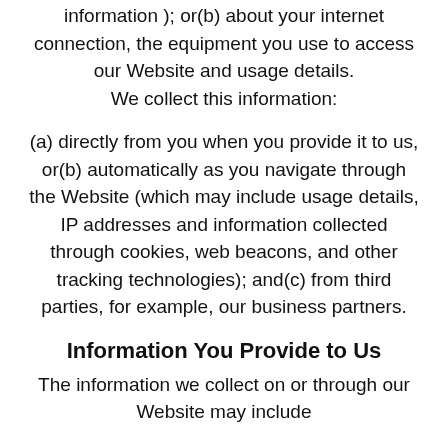information ); or(b) about your internet connection, the equipment you use to access our Website and usage details.
We collect this information:
(a) directly from you when you provide it to us, or(b) automatically as you navigate through the Website (which may include usage details, IP addresses and information collected through cookies, web beacons, and other tracking technologies); and(c) from third parties, for example, our business partners.
Information You Provide to Us
The information we collect on or through our Website may include
(a) information that you provide by filling in forms